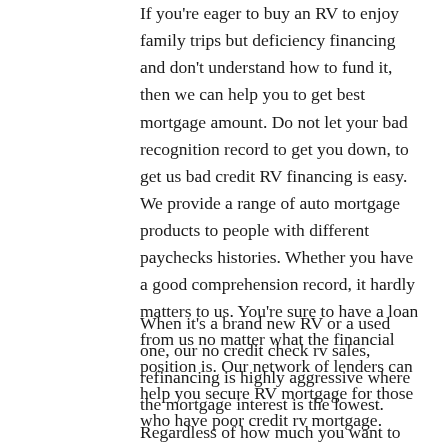If you're eager to buy an RV to enjoy family trips but deficiency financing and don't understand how to fund it, then we can help you to get best mortgage amount. Do not let your bad recognition record to get you down, to get us bad credit RV financing is easy. We provide a range of auto mortgage products to people with different paychecks histories. Whether you have a good comprehension record, it hardly matters to us. You're sure to have a loan from us no matter what the financial position is. Our network of lenders can help you secure RV mortgage for those who have poor credit rv mortgage.
When it's a brand new RV or a used one, our no credit check rv sales, refinancing is highly aggressive where the mortgage interest is the lowest. Regardless of how much you want to refinance, we provide the very